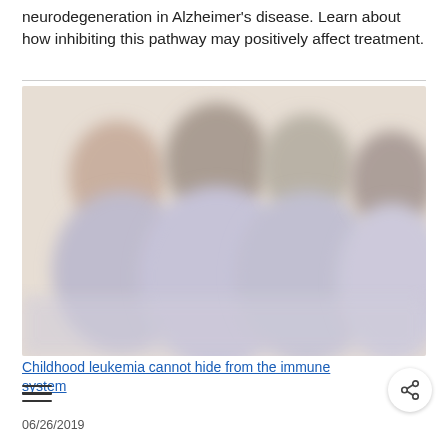neurodegeneration in Alzheimer's disease. Learn about how inhibiting this pathway may positively affect treatment.
[Figure (photo): Blurred photo of a group of people, likely in a medical or caregiving context, with muted lavender and beige tones.]
Childhood leukemia cannot hide from the immune system
06/26/2019